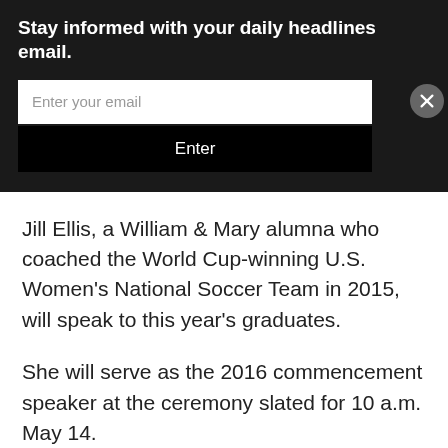Stay informed with your daily headlines email.
[Figure (screenshot): Email subscription form with text input field labeled 'Enter your email' and a black 'Enter' button, with a circular close button on the right]
Jill Ellis, a William & Mary alumna who coached the World Cup-winning U.S. Women's National Soccer Team in 2015, will speak to this year's graduates.
She will serve as the 2016 commencement speaker at the ceremony slated for 10 a.m. May 14.